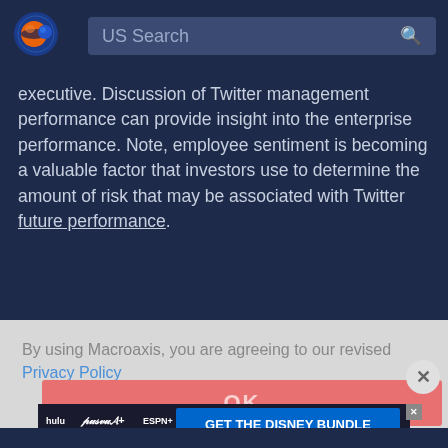[Figure (logo): Macroaxis logo: orange and blue circular planet icon with dark navy background]
US Search
executive. Discussion of Twitter management performance can provide insight into the enterprise performance. Note, employee sentiment is becoming a valuable factor that investors use to determine the amount of risk that may be associated with Twitter future performance.
By using Macroaxis, you are agreeing to our revised Privacy Policy
OK